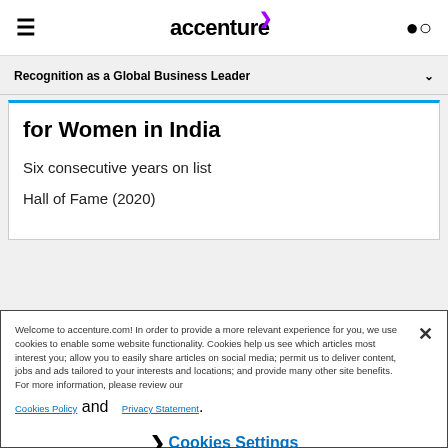accenture
Recognition as a Global Business Leader
for Women in India
Six consecutive years on list
Hall of Fame (2020)
Welcome to accenture.com! In order to provide a more relevant experience for you, we use cookies to enable some website functionality. Cookies help us see which articles most interest you; allow you to easily share articles on social media; permit us to deliver content, jobs and ads tailored to your interests and locations; and provide many other site benefits. For more information, please review our Cookies Policy and Privacy Statement.
Cookies Settings